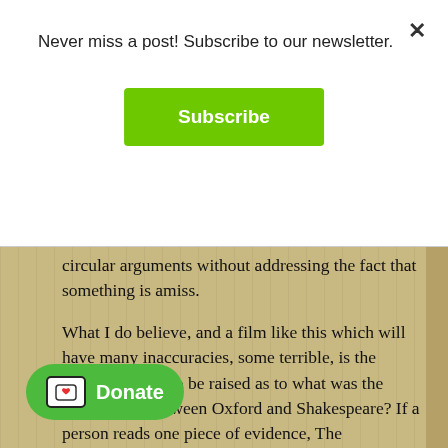Never miss a post! Subscribe to our newsletter.
Subscribe
circular arguments without addressing the fact that something is amiss.
What I do believe, and a film like this which will have many inaccuracies, some terrible, is the question needs to be raised as to what was the relationship between Oxford and Shakespeare? If a person reads one piece of evidence, The Bedingfield letter, which Oxford wrote at 23 when he financed the translation of Cardanus ... nearest source of the "to be or not to be" soliloquy, and introduces 'Murder' in the
Donate